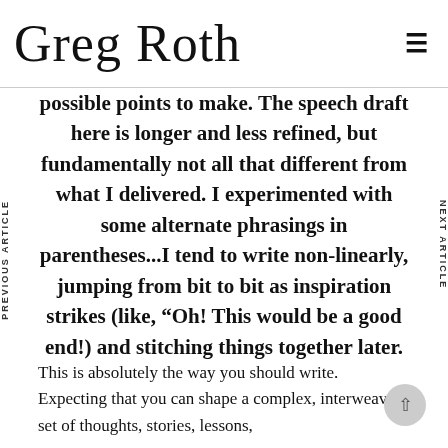Greg Roth
possible points to make. The speech draft here is longer and less refined, but fundamentally not all that different from what I delivered. I experimented with some alternate phrasings in parentheses...I tend to write non-linearly, jumping from bit to bit as inspiration strikes (like, “Oh! This would be a good end!) and stitching things together later.
This is absolutely the way you should write. Expecting that you can shape a complex, interweaving set of thoughts, stories, lessons,